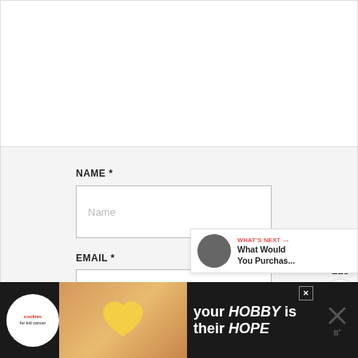[Figure (screenshot): Top white section of a web page form, blank area above the comment form]
NAME *
[Figure (screenshot): Name input text field with placeholder text 'Name']
EMAIL *
[Figure (screenshot): Email input text field with placeholder text 'Email']
[Figure (screenshot): COMMENT submit button in gray]
[Figure (screenshot): Social sidebar with heart/like button showing count 213 and share button]
[Figure (screenshot): What's Next widget showing 'What Would You Purchas...']
[Figure (screenshot): Advertisement banner at bottom: 'your HOBBY is their HOPE' with cookies for kid cancer logo]